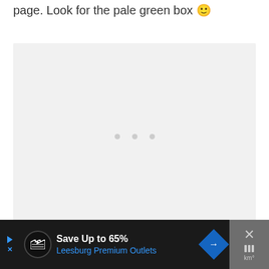page. Look for the pale green box 🙂
[Figure (other): A pale grey/light box placeholder area with three grey dots in the center indicating loading or empty content]
[Figure (other): Advertisement banner: Save Up to 65% Leesburg Premium Outlets with navigation arrow icon and close button]